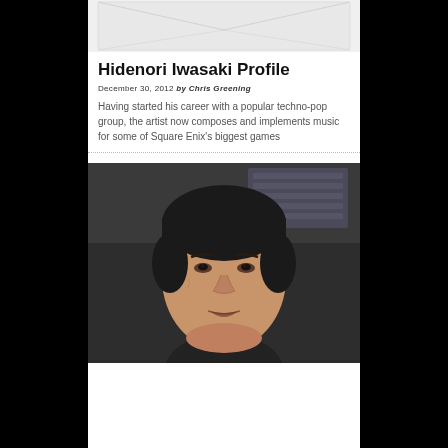[Figure (photo): Envelope/mail icon placeholder area at top of page]
Hidenori Iwasaki Profile
December 30, 2012 by Chris Greening
Having started his career with a popular techno-pop group, the artist now composes and implements music for some of Square Enix's biggest games
[Figure (photo): Portrait photo of Hidenori Iwasaki, a middle-aged Japanese man, photographed in what appears to be a recording studio]